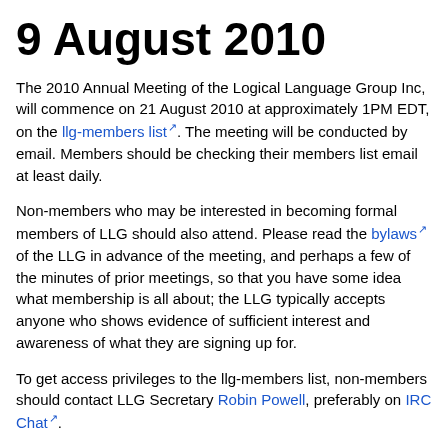9 August 2010
The 2010 Annual Meeting of the Logical Language Group Inc, will commence on 21 August 2010 at approximately 1PM EDT, on the llg-members list. The meeting will be conducted by email. Members should be checking their members list email at least daily.
Non-members who may be interested in becoming formal members of LLG should also attend. Please read the bylaws of the LLG in advance of the meeting, and perhaps a few of the minutes of prior meetings, so that you have some idea what membership is all about; the LLG typically accepts anyone who shows evidence of sufficient interest and awareness of what they are signing up for.
To get access privileges to the llg-members list, non-members should contact LLG Secretary Robin Powell, preferably on IRC Chat.